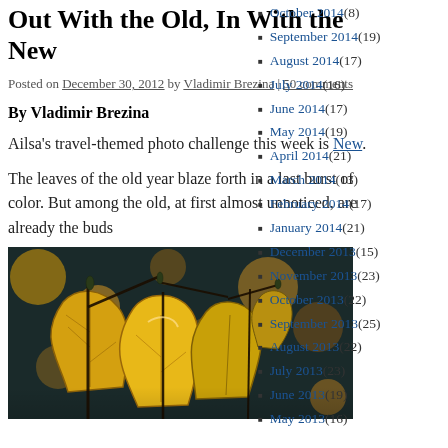Out With the Old, In With the New
Posted on December 30, 2012 by Vladimir Brezina | 50 comments
By Vladimir Brezina
Ailsa's travel-themed photo challenge this week is New.
The leaves of the old year blaze forth in a last burst of color. But among the old, at first almost unnoticed, are already the buds
[Figure (photo): Close-up photograph of golden autumn leaves on dark branches against a blurred colorful background]
October 2014 (8)
September 2014 (19)
August 2014 (17)
July 2014 (16)
June 2014 (17)
May 2014 (19)
April 2014 (21)
March 2014 (13)
February 2014 (17)
January 2014 (21)
December 2013 (15)
November 2013 (23)
October 2013 (22)
September 2013 (25)
August 2013 (22)
July 2013 (23)
June 2013 (19)
May 2013 (16)